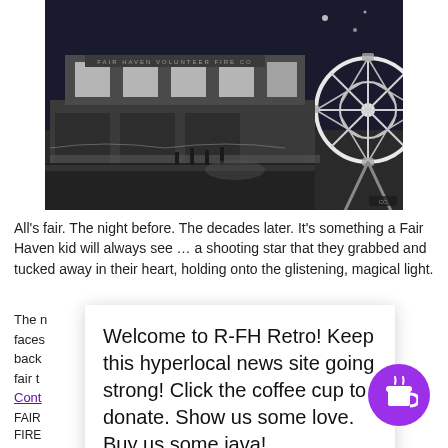[Figure (photo): Black and white night photo of a fairground with a building labeled 'Fair Haven' and a large illuminated Ferris wheel on the right side.]
All's fair. The night before. The decades later. It's something a Fair Haven kid will always see ... a shooting star that they grabbed and tucked away in their heart, holding onto the glistening, magical light.
The [partially obscured text] ... s. Cartoony faces [partially obscured] al rides stare back [partially obscured] irehouse. It's fair t[obscured]
Welcome to R-FH Retro! Keep this hyperlocal news site going strong! Click the coffee cup to donate. Show us some love. Buy us some java!
Cont[inue]
FAIR
FIRE
AVE